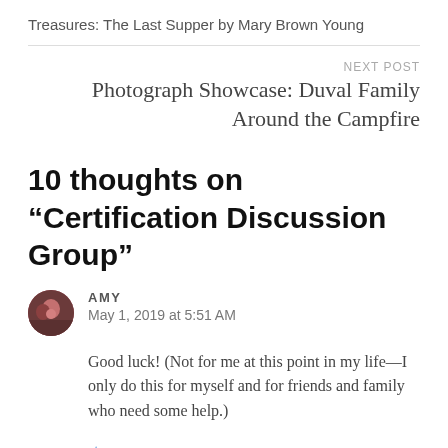Treasures: The Last Supper by Mary Brown Young
NEXT POST
Photograph Showcase: Duval Family Around the Campfire
10 thoughts on “Certification Discussion Group”
AMY
May 1, 2019 at 5:51 AM
Good luck! (Not for me at this point in my life—I only do this for myself and for friends and family who need some help.)
Liked by 2 people